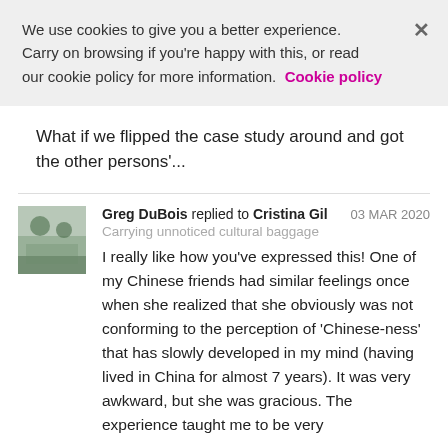We use cookies to give you a better experience. Carry on browsing if you're happy with this, or read our cookie policy for more information. Cookie policy
What if we flipped the case study around and got the other persons'...
Greg DuBois replied to Cristina Gil   03 MAR 2020
Carrying unnoticed cultural baggage
I really like how you've expressed this! One of my Chinese friends had similar feelings once when she realized that she obviously was not conforming to the perception of 'Chinese-ness' that has slowly developed in my mind (having lived in China for almost 7 years). It was very awkward, but she was gracious. The experience taught me to be very